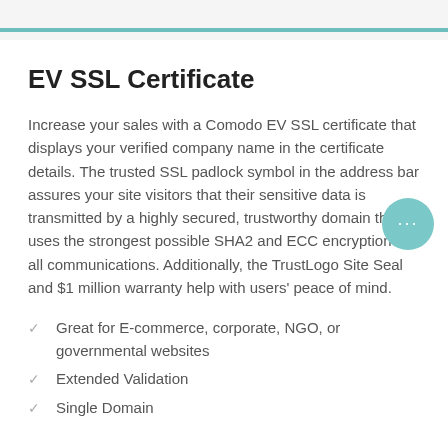EV SSL Certificate
Increase your sales with a Comodo EV SSL certificate that displays your verified company name in the certificate details. The trusted SSL padlock symbol in the address bar assures your site visitors that their sensitive data is transmitted by a highly secured, trustworthy domain that uses the strongest possible SHA2 and ECC encryption on all communications. Additionally, the TrustLogo Site Seal and $1 million warranty help with users' peace of mind.
Great for E-commerce, corporate, NGO, or governmental websites
Extended Validation
Single Domain